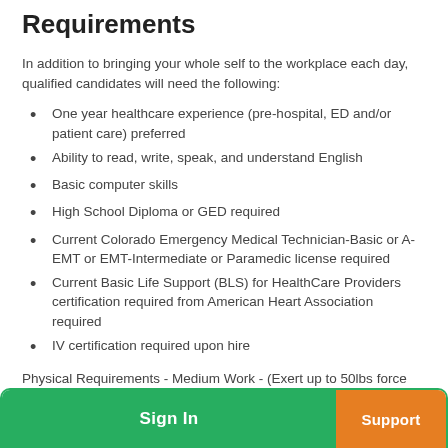Requirements
In addition to bringing your whole self to the workplace each day, qualified candidates will need the following:
One year healthcare experience (pre-hospital, ED and/or patient care) preferred
Ability to read, write, speak, and understand English
Basic computer skills
High School Diploma or GED required
Current Colorado Emergency Medical Technician-Basic or A-EMT or EMT-Intermediate or Paramedic license required
Current Basic Life Support (BLS) for HealthCare Providers certification required from American Heart Association required
IV certification required upon hire
Physical Requirements - Medium Work - (Exert up to 50lbs force occasionally and/or up to 30lbs